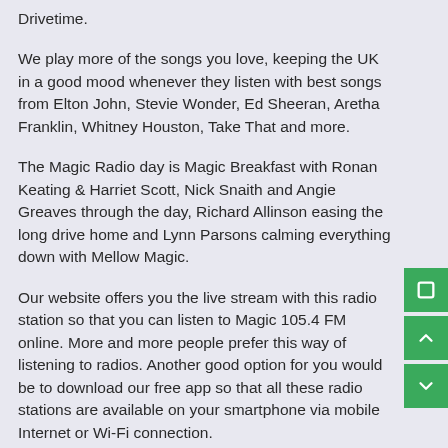Drivetime.
We play more of the songs you love, keeping the UK in a good mood whenever they listen with best songs from Elton John, Stevie Wonder, Ed Sheeran, Aretha Franklin, Whitney Houston, Take That and more.
The Magic Radio day is Magic Breakfast with Ronan Keating & Harriet Scott, Nick Snaith and Angie Greaves through the day, Richard Allinson easing the long drive home and Lynn Parsons calming everything down with Mellow Magic.
Our website offers you the live stream with this radio station so that you can listen to Magic 105.4 FM online. More and more people prefer this way of listening to radios. Another good option for you would be to download our free app so that all these radio stations are available on your smartphone via mobile Internet or Wi-Fi connection.
Контакты радиостанции
Адрес: 1 Golden Square, Soho, London W1F 9HR